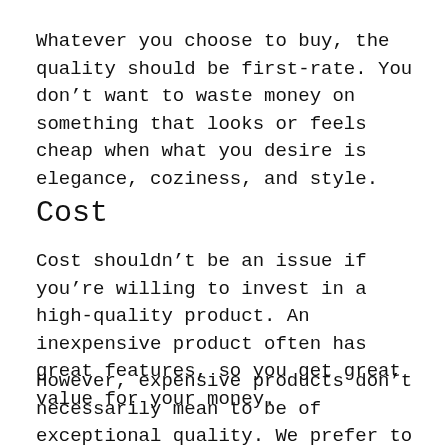Whatever you choose to buy, the quality should be first-rate. You don't want to waste money on something that looks or feels cheap when what you desire is elegance, coziness, and style.
Cost
Cost shouldn't be an issue if you're willing to invest in a high-quality product. An inexpensive product often has great features, so you get great value for your money.
However, expensive products don't necessarily mean to be of exceptional quality. We prefer to say you select something that fulfills your needs.